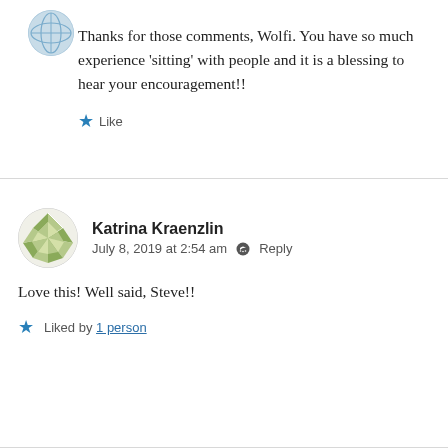[Figure (photo): Circular avatar image of a map/globe pattern at top]
Thanks for those comments, Wolfi. You have so much experience ‘sitting’ with people and it is a blessing to hear your encouragement!!
★ Like
[Figure (photo): Circular avatar image with green quilt/geometric pattern for Katrina Kraenzlin]
Katrina Kraenzlin
July 8, 2019 at 2:54 am   Reply
Love this! Well said, Steve!!
★ Liked by 1 person